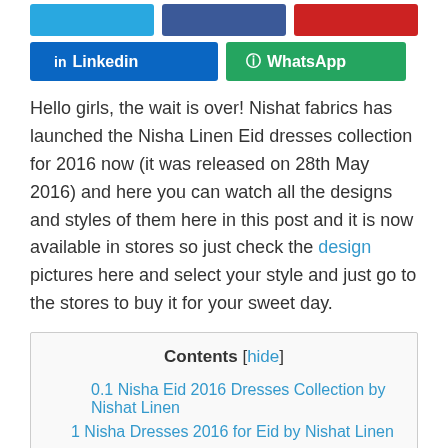[Figure (other): Partial social share buttons at top: blue, navy, red colored button strips]
[Figure (other): Social share buttons: LinkedIn (blue) and WhatsApp (green)]
Hello girls, the wait is over! Nishat fabrics has launched the Nisha Linen Eid dresses collection for 2016 now (it was released on 28th May 2016) and here you can watch all the designs and styles of them here in this post and it is now available in stores so just check the design pictures here and select your style and just go to the stores to buy it for your sweet day.
| Contents [hide] |
| 0.1 Nisha Eid 2016 Dresses Collection by Nishat Linen |
| 1 Nisha Dresses 2016 for Eid by Nishat Linen |